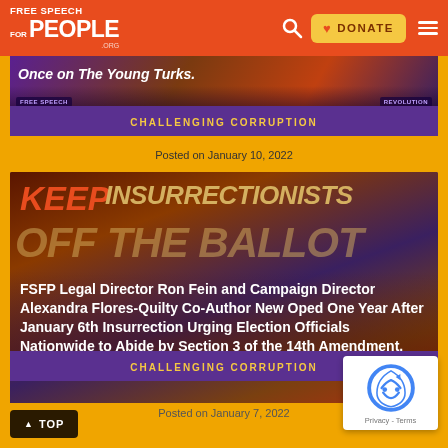Free Speech For People .org — DONATE — navigation
[Figure (screenshot): Partial card image showing text 'once on The Young Turks.' over a purple/red rally background with CHALLENGING CORRUPTION category bar]
CHALLENGING CORRUPTION
Posted on January 10, 2022
[Figure (screenshot): Card image showing 'KEEP INSURRECTIONISTS OFF THE BALLOT' poster with protest crowd in background, orange and purple tones]
FSFP Legal Director Ron Fein and Campaign Director Alexandra Flores-Quilty Co-Author New Oped One Year After January 6th Insurrection Urging Election Officials Nationwide to Abide by Section 3 of the 14th Amendment.
CHALLENGING CORRUPTION
Posted on January 7, 2022